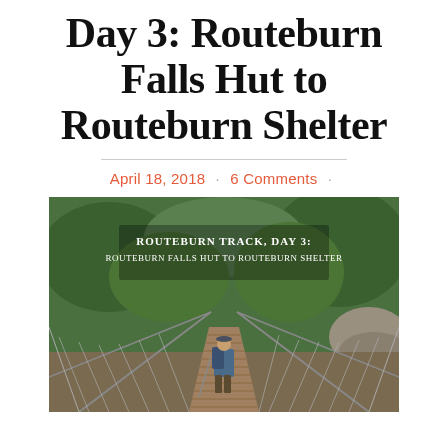Day 3: Routeburn Falls Hut to Routeburn Shelter
April 18, 2018 · 6 Comments ·
[Figure (photo): A hiker with a backpack walks across a suspension bridge with wire netting on the sides, surrounded by lush green forest and rocky terrain. Text overlay reads: 'Routeburn Track, Day 3: Routeburn Falls Hut to Routeburn Shelter']